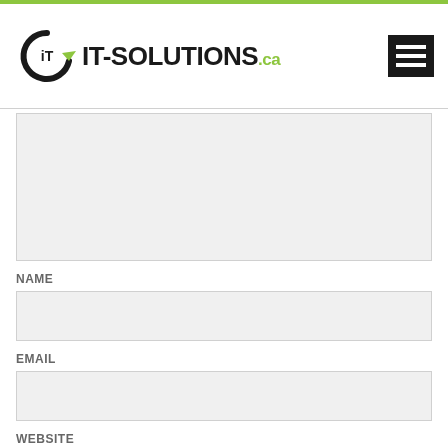[Figure (logo): IT-Solutions.ca logo with circular arrow icon and hamburger menu icon]
NAME
EMAIL
WEBSITE